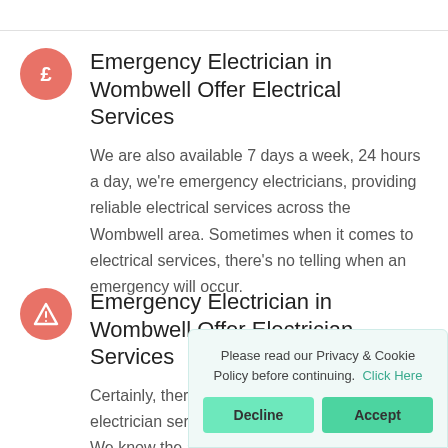Emergency Electrician in Wombwell Offer Electrical Services
We are also available 7 days a week, 24 hours a day, we're emergency electricians, providing reliable electrical services across the Wombwell area. Sometimes when it comes to electrical services, there's no telling when an emergency will occur.
Emergency Electrician in Wombwell Offer Electrician Services
Certainly, there are many advantages of hiring professional electrician services in Wombwell for your home or business. We know the advantages and the reasons for hiring and following electrician services in Wombwell. We always arrive within two hours of your call or appointment.